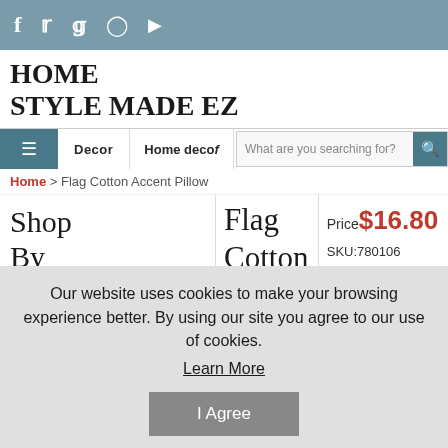Social media icons: f, twitter, p, instagram, youtube
HOME STYLE MADE EZ
Navigation: Decor | Home decor | Search: What are you searching for?
Home > Flag Cotton Accent Pillow
Shop By Category:
Flag Cotton Accent Pillow
Price $16.80
SKU:780106
Decor
[Figure (photo): American flag pattern accent pillow with stars and stripes in red, white, and blue]
Our website uses cookies to make your browsing experience better. By using our site you agree to our use of cookies.
Learn More
I Agree